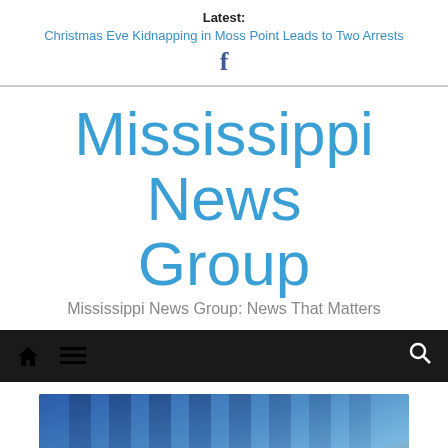Latest: Christmas Eve Kidnapping in Moss Point Leads to Two Arrests
[Figure (logo): Facebook 'f' logo icon in dark blue]
Mississippi News Group
Mississippi News Group: News That Matters
[Figure (screenshot): Navigation bar with home icon, menu icon, and search icon on dark background]
[Figure (photo): Article thumbnail image with blue and orange gradient background, vertical bar/jail cell overlay, text 'EMBEZZLEMENT' at bottom in white bold letters]